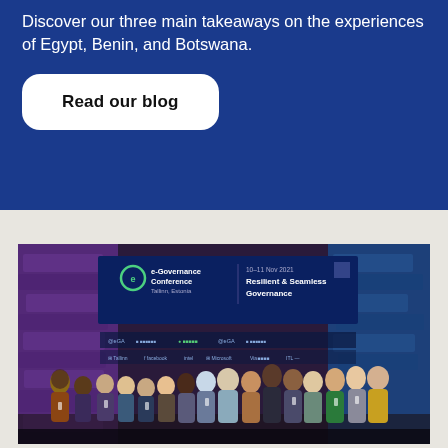Discover our three main takeaways on the experiences of Egypt, Benin, and Botswana.
Read our blog
[Figure (photo): Group photo of approximately 20 people standing in front of an e-Governance Conference backdrop banner that reads 'e-Governance Conference Tallinn, Estonia' and 'Resilient & Seamless Governance'. The background shows purple-lit stone walls typical of a historic venue. Sponsors listed include eGA, Tallinn, Facebook, Intel, Microsoft, ViaNetworks, ITL.]